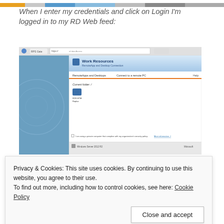[Figure (screenshot): Partial image strip at top of page showing cropped colorful banner]
When I enter my credentials and click on Login I’m logged in to my RD Web feed:
[Figure (screenshot): Screenshot of Windows RD Web Access portal showing Work Resources page with RemoteApp and Desktop Connection, with a current folder section showing an application icon labeled RDS HTM Replaz]
Privacy & Cookies: This site uses cookies. By continuing to use this website, you agree to their use.
To find out more, including how to control cookies, see here: Cookie Policy
Close and accept